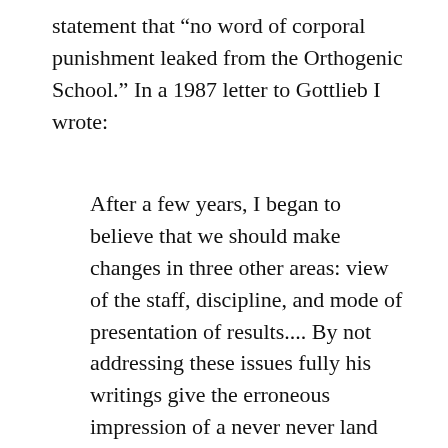statement that “no word of corporal punishment leaked from the Orthogenic School.” In a 1987 letter to Gottlieb I wrote:
After a few years, I began to believe that we should make changes in three other areas: view of the staff, discipline, and mode of presentation of results.... By not addressing these issues fully his writings give the erroneous impression of a never never land and to some extent lose credibility in the profession. In this book I address one of these issues: discipline, particularly the problem of the need for aversive measures. I believe that to acknowledge that he and I